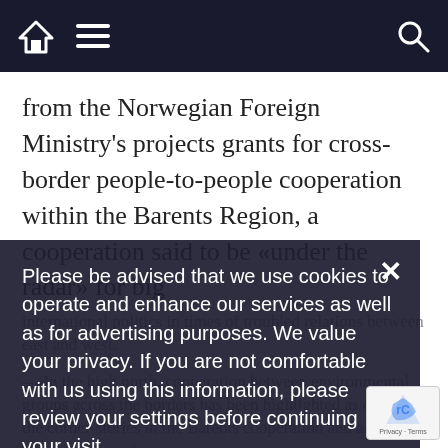Navigation bar with home, menu, and search icons
from the Norwegian Foreign Ministry's projects grants for cross-border people-to-people cooperation within the Barents Region, a cooperation said to be «under the radar» for big international politics in times of troubled relations between east and west.
– «In the high north, cooperation between environmental groups across the borders has been highlighted as one of the corner-stories in the Barents cooperation and an important part of
Please be advised that we use cookies to operate and enhance our services as well as for advertising purposes. We value your privacy. If you are not comfortable with us using this information, please review your settings before continuing your visit.
Manage your navigation settings
Find out more
– The Foreign Ministry in Oslo could not immediately be reached for comments.
Can't pay fines